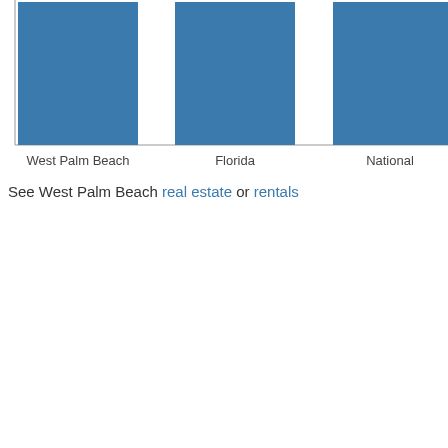[Figure (bar-chart): ]
See West Palm Beach real estate or rentals